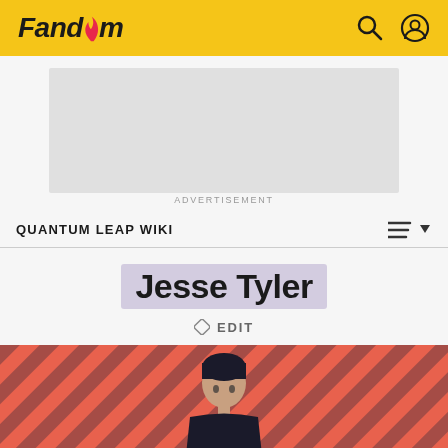Fandom
[Figure (screenshot): Gray advertisement placeholder box]
ADVERTISEMENT
QUANTUM LEAP WIKI
Jesse Tyler
✏ EDIT
[Figure (photo): Person with dark hair on striped salmon/dark-stripe background, visible from waist up]